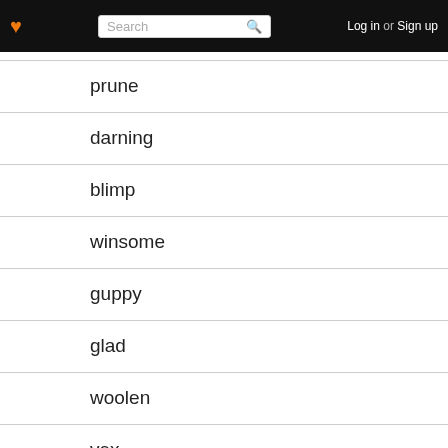❤ Search Log in or Sign up
prune
darning
blimp
winsome
guppy
glad
woolen
vex